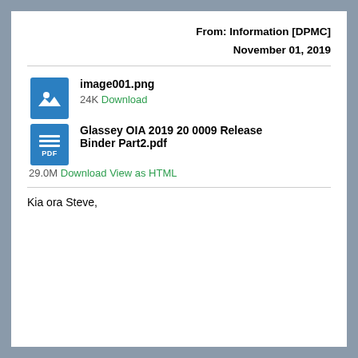From: Information [DPMC]
November 01, 2019
[Figure (other): Image file attachment icon (blue square with photo symbol)]
image001.png
24K Download
[Figure (other): PDF file attachment icon (blue square with lines and PDF label)]
Glassey OIA 2019 20 0009 Release Binder Part2.pdf
29.0M Download View as HTML
Kia ora Steve,